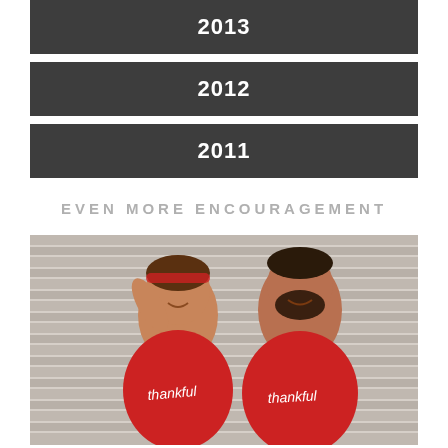2013
2012
2011
EVEN MORE ENCOURAGEMENT
[Figure (photo): Two people wearing matching red 'thankful' t-shirts, laughing and smiling at each other in front of a slatted background. The woman has a red headband and the man has a beard.]